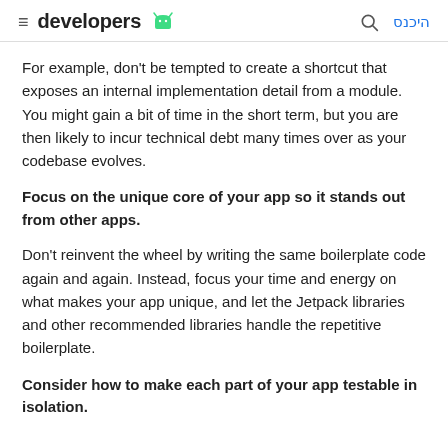≡ developers 🤖  🔍 היכנס
For example, don't be tempted to create a shortcut that exposes an internal implementation detail from a module. You might gain a bit of time in the short term, but you are then likely to incur technical debt many times over as your codebase evolves.
Focus on the unique core of your app so it stands out from other apps.
Don't reinvent the wheel by writing the same boilerplate code again and again. Instead, focus your time and energy on what makes your app unique, and let the Jetpack libraries and other recommended libraries handle the repetitive boilerplate.
Consider how to make each part of your app testable in isolation.